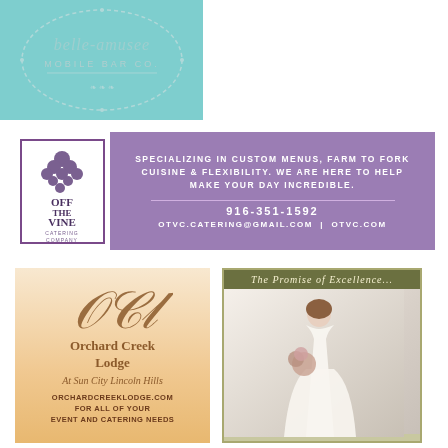[Figure (logo): Belle Amusee Mobile Bar Co logo on teal/turquoise background with wreath border]
[Figure (illustration): Off The Vine Catering Company ad with purple background and logo. Text: SPECIALIZING IN CUSTOM MENUS, FARM TO FORK CUISINE & FLEXIBILITY. WE ARE HERE TO HELP MAKE YOUR DAY INCREDIBLE. 916-351-1592 OTVC.CATERING@GMAIL.COM | OTVC.COM]
[Figure (illustration): Orchard Creek Lodge at Sun City Lincoln Hills ad. ORCHARDCREEKLODGE.COM FOR ALL OF YOUR EVENT AND CATERING NEEDS]
[Figure (photo): The Promise of Excellence - wedding photo with bride holding bouquet]